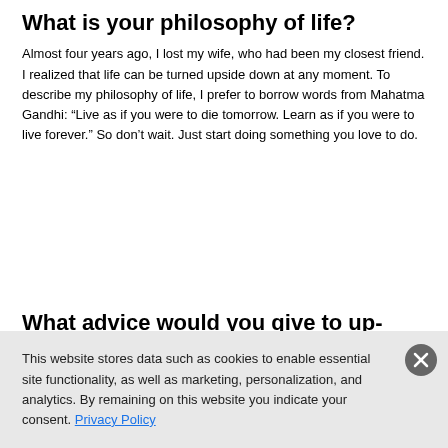What is your philosophy of life?
Almost four years ago, I lost my wife, who had been my closest friend. I realized that life can be turned upside down at any moment. To describe my philosophy of life, I prefer to borrow words from Mahatma Gandhi: “Live as if you were to die tomorrow. Learn as if you were to live forever.” So don’t wait. Just start doing something you love to do.
What advice would you give to up-and-coming scientists?
This website stores data such as cookies to enable essential site functionality, as well as marketing, personalization, and analytics. By remaining on this website you indicate your consent. Privacy Policy